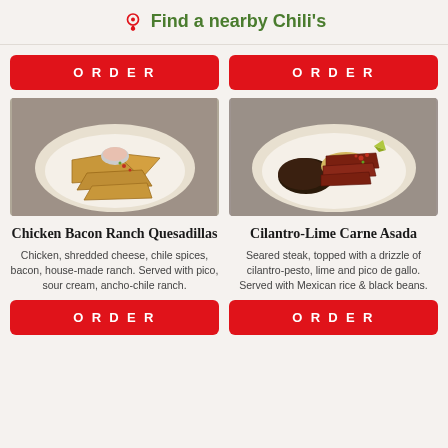Find a nearby Chili's
ORDER
[Figure (photo): Plate of Chicken Bacon Ranch Quesadillas with pico, sour cream, and ancho-chile ranch dipping sauce on a white plate]
Chicken Bacon Ranch Quesadillas
Chicken, shredded cheese, chile spices, bacon, house-made ranch. Served with pico, sour cream, ancho-chile ranch.
ORDER
ORDER
[Figure (photo): Plate of Cilantro-Lime Carne Asada with sliced seared steak, black beans, Mexican rice, pico de gallo and a lime wedge]
Cilantro-Lime Carne Asada
Seared steak, topped with a drizzle of cilantro-pesto, lime and pico de gallo. Served with Mexican rice & black beans.
ORDER